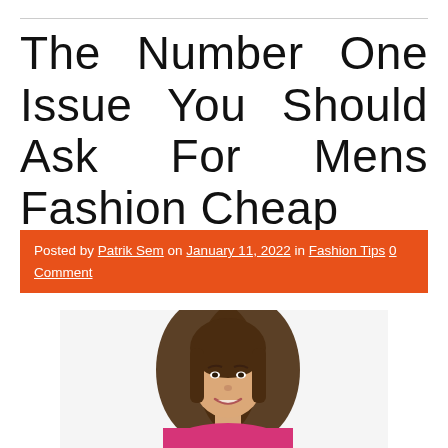The Number One Issue You Should Ask For Mens Fashion Cheap
Posted by Patrik Sem on January 11, 2022 in Fashion Tips 0 Comment
[Figure (photo): Young woman with long brown hair, smiling, wearing a pink top, shown from the shoulders up against a white background]